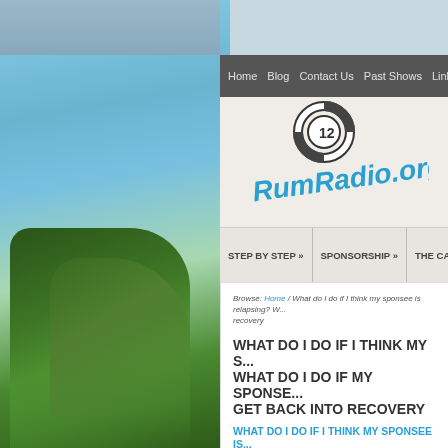[Figure (screenshot): RumRadio.org website screenshot showing navigation bar, logo, sub-navigation, breadcrumb, and page title about sponsee relapsing]
Home   Blog   Contact Us   Past Shows   Link To Us
[Figure (logo): RumRadio.org logo with life preserver ring containing number 12 and stylized text RumRadio.org in teal/blue]
STEP BY STEP »   SPONSORSHIP »   THE CAPTA...
Browse: Home / What do I do if I think my sponsee is relapsing? W... recovery
WHAT DO I DO IF I THINK MY S... WHAT DO I DO IF MY SPONSE... GET BACK INTO RECOVERY
WHAT DO I DO IF I THINK MY SPONSEE IS...